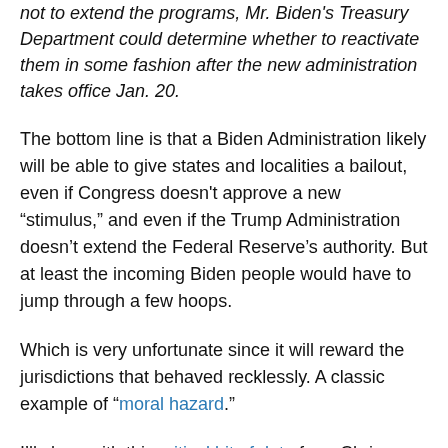not to extend the programs, Mr. Biden's Treasury Department could determine whether to reactivate them in some fashion after the new administration takes office Jan. 20.
The bottom line is that a Biden Administration likely will be able to give states and localities a bailout, even if Congress doesn't approve a new “stimulus,” and even if the Trump Administration doesn’t extend the Federal Reserve’s authority. But at least the incoming Biden people would have to jump through a few hoops.
Which is very unfortunate since it will reward the jurisdictions that behaved recklessly. A classic example of “moral hazard.”
I’ll close with this critical bit of data from Chris Edwards. As you can see, state and local governments actually have